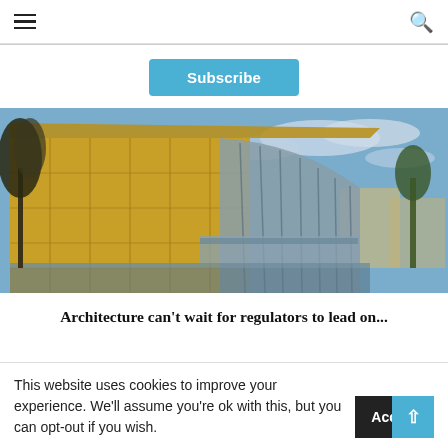≡ [hamburger menu] ... [search icon]
Subscribe
[Figure (photo): Exterior photograph of a modern building with golden/yellow cladding panels on the left side and glass curtain wall facade on the right, with trees in the foreground and a blue sky with clouds in the background.]
Architecture can't wait for regulators to lead on...
This website uses cookies to improve your experience. We'll assume you're ok with this, but you can opt-out if you wish.  Accept